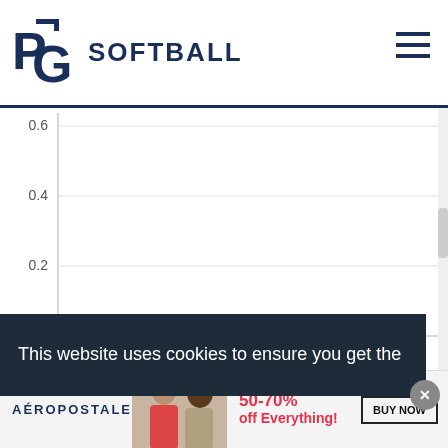PG SOFTBALL
[Figure (continuous-plot): A line or bar chart with y-axis labels 0, 0.2, 0.4, 0.6 and no visible x-axis labels or data points in the visible area. Chart area is mostly empty/white.]
This website uses cookies to ensure you get the
[Figure (infographic): Aéropostale advertisement banner showing two women models, text '50-70% off Everything!' in red, and a 'BUY NOW' button.]